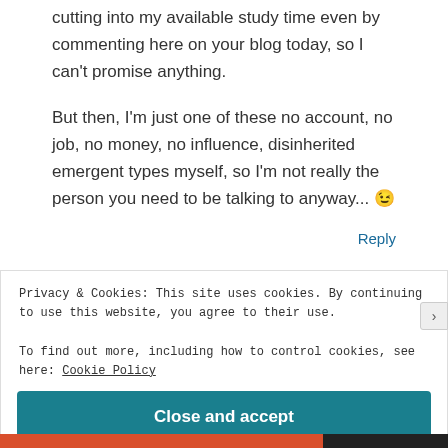cutting into my available study time even by commenting here on your blog today, so I can't promise anything.
But then, I'm just one of these no account, no job, no money, no influence, disinherited emergent types myself, so I'm not really the person you need to be talking to anyway... 😉
Reply
Privacy & Cookies: This site uses cookies. By continuing to use this website, you agree to their use.
To find out more, including how to control cookies, see here: Cookie Policy